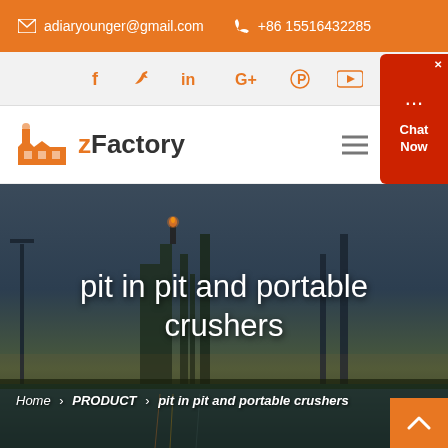✉ adiaryounger@gmail.com  ☎ +86 15516432285
[Figure (other): Social media icons row: Facebook, Twitter, LinkedIn, Google+, Pinterest, YouTube in orange]
[Figure (logo): zFactory logo with orange factory icon and bold text]
pit in pit and portable crushers
Home › PRODUCT › pit in pit and portable crushers